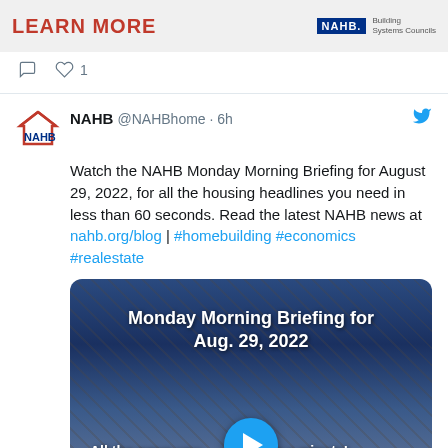[Figure (screenshot): NAHB banner ad with LEARN MORE text and NAHB Building Systems Councils logo]
♡ 1
NAHB @NAHBhome · 6h
Watch the NAHB Monday Morning Briefing for August 29, 2022, for all the housing headlines you need in less than 60 seconds. Read the latest NAHB news at nahb.org/blog | #homebuilding #economics #realestate
[Figure (screenshot): Video thumbnail for Monday Morning Briefing for Aug. 29, 2022 with play button. Text: All the news you need under a minute!]